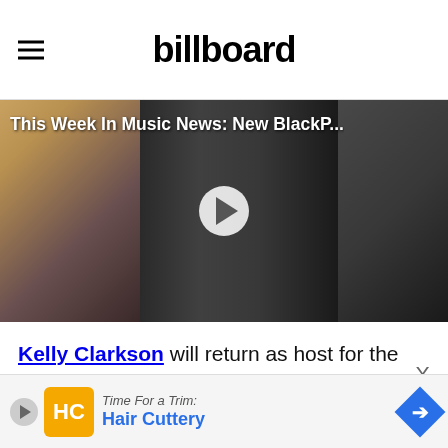billboard
[Figure (screenshot): Video thumbnail showing Britney Spears on the left, BLACKPINK group in the center, and Zayn on the right, with a play button overlay and title 'This Week In Music News: New BlackP...']
Kelly Clarkson will return as host for the 2020 Billboard Music Awards, which will broadcast live from The Dolby Theatre in Los Angeles on Wednesday, Oct. 14 at 8:00
[Figure (infographic): Hair Cuttery advertisement banner with logo, play button, name and blue arrow icon]